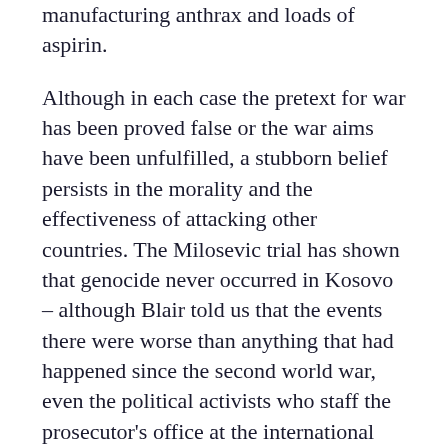manufacturing anthrax and loads of aspirin.
Although in each case the pretext for war has been proved false or the war aims have been unfulfilled, a stubborn belief persists in the morality and the effectiveness of attacking other countries. The Milosevic trial has shown that genocide never occurred in Kosovo – although Blair told us that the events there were worse than anything that had happened since the second world war, even the political activists who staff the prosecutor's office at the international criminal tribunal in The Hague never included genocide in their Kosovo indictment. And two years of prosecution have failed to produce one single witness to testify that the former Yugoslav president ordered any attacks on Albanian civilians in the province. Indeed, army documents